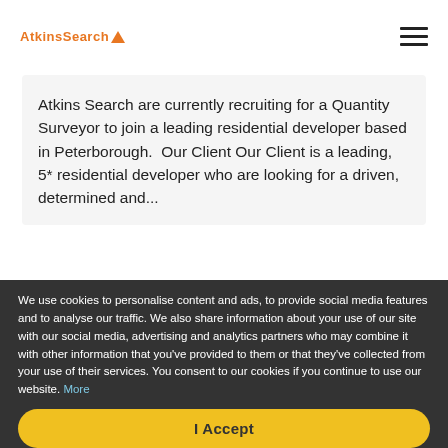AtkinsSearch [logo with triangle]
Atkins Search are currently recruiting for a Quantity Surveyor to join a leading residential developer based in Peterborough.  Our Client Our Client is a leading, 5* residential developer who are looking for a driven, determined and...
Apply Now
We use cookies to personalise content and ads, to provide social media features and to analyse our traffic. We also share information about your use of our site with our social media, advertising and analytics partners who may combine it with other information that you've provided to them or that they've collected from your use of their services. You consent to our cookies if you continue to use our website. More
I Accept